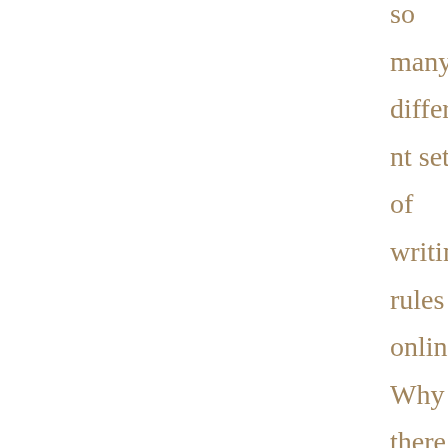so many different sets of writing rules online? Why is there so much conflicting advice about queries? Why